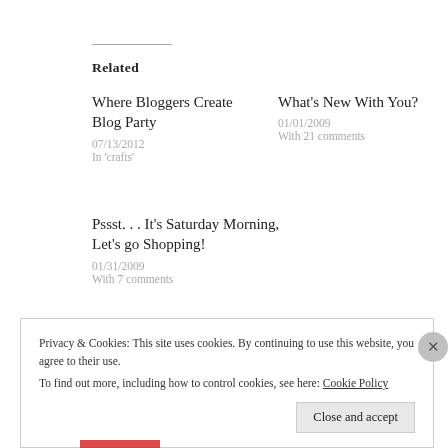Related
Where Bloggers Create Blog Party
07/13/2012
In 'crafts'
What's New With You?
01/01/2009
With 21 comments
Pssst. . . It's Saturday Morning, Let's go Shopping!
01/31/2009
With 7 comments
Privacy & Cookies: This site uses cookies. By continuing to use this website, you agree to their use.
To find out more, including how to control cookies, see here: Cookie Policy
Close and accept